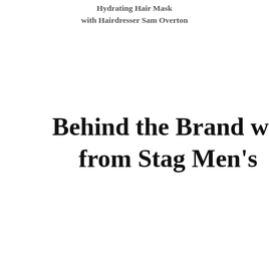Hydrating Hair Mask
with Hairdresser Sam Overton
Behind the Brand wit from Stag Men's